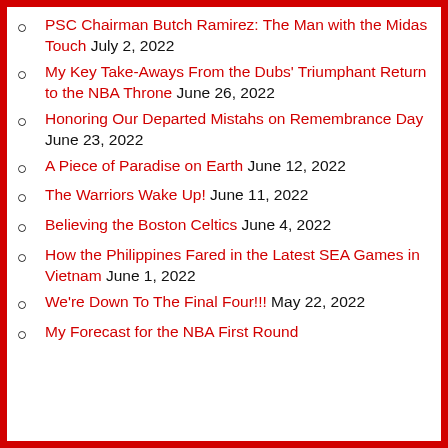PSC Chairman Butch Ramirez: The Man with the Midas Touch July 2, 2022
My Key Take-Aways From the Dubs' Triumphant Return to the NBA Throne June 26, 2022
Honoring Our Departed Mistahs on Remembrance Day June 23, 2022
A Piece of Paradise on Earth June 12, 2022
The Warriors Wake Up! June 11, 2022
Believing the Boston Celtics June 4, 2022
How the Philippines Fared in the Latest SEA Games in Vietnam June 1, 2022
We're Down To The Final Four!!! May 22, 2022
My Forecast for the NBA First Round